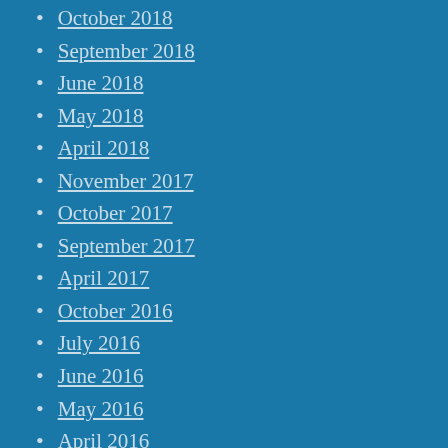October 2018
September 2018
June 2018
May 2018
April 2018
November 2017
October 2017
September 2017
April 2017
October 2016
July 2016
June 2016
May 2016
April 2016
March 2016
February 2016
January 2016